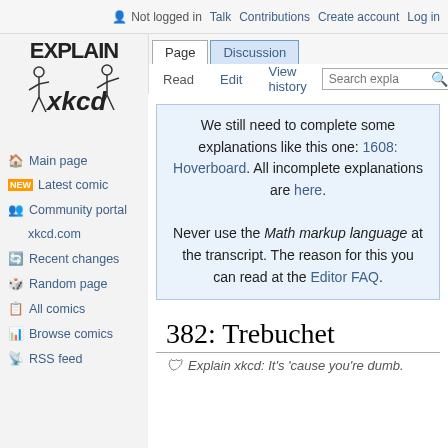Not logged in  Talk  Contributions  Create account  Log in
Page  Discussion  Read  Edit  View history  Search expla
[Figure (logo): Explain xkcd logo with stick figures and bold text]
Main page
Latest comic
Community portal
xkcd.com
Recent changes
Random page
All comics
Browse comics
RSS feed
We still need to complete some explanations like this one: 1608: Hoverboard. All incomplete explanations are here.
Never use the Math markup language at the transcript. The reason for this you can read at the Editor FAQ.
382: Trebuchet
Explain xkcd: It's 'cause you're dumb.